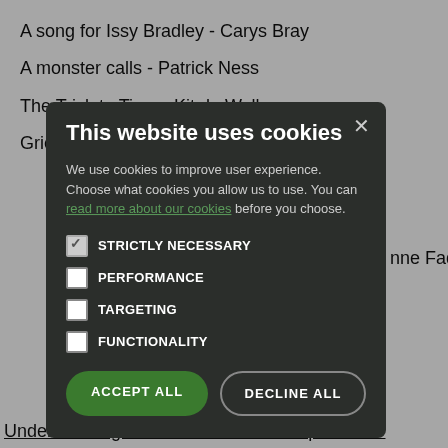A song for Issy Bradley - Carys Bray
A monster calls - Patrick Ness
The Trick to Time - Kit de Wall
Grief is the thing with feathers – Max Porter
nne Fadiman
[Figure (screenshot): Cookie consent modal dialog on a dark background. Title: 'This website uses cookies'. Body text explaining cookie usage with a link 'read more about our cookies'. Four checkbox options: STRICTLY NECESSARY (checked), PERFORMANCE (unchecked), TARGETING (unchecked), FUNCTIONALITY (unchecked). Two buttons: green 'ACCEPT ALL' and outlined 'DECLINE ALL'. An X close button in the top right.]
Understanding Yourself and other People Better